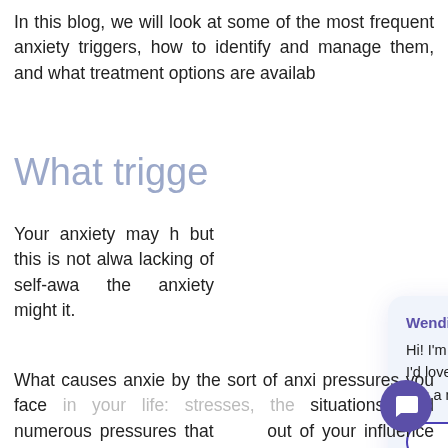In this blog, we will look at some of the most frequent anxiety triggers, how to identify and manage them, and what treatment options are availab
What trigge
Your anxiety may h but this is not alwa lacking of self-awa the anxiety might it.
[Figure (screenshot): Chat popup overlay with digital assistant named Wendi. Contains greeting message, two buttons: 'I'm a new patient' and 'I'm an existing patient', and a close button (X).]
What causes anxie by the sort of anxi pressures you face in your life: stresses, situations, and numerous pressures that out of your influence can all be anxiety triggers.